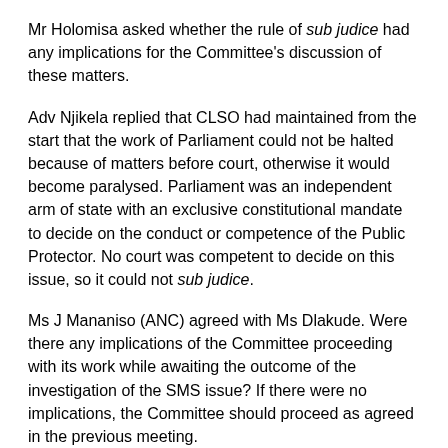Mr Holomisa asked whether the rule of sub judice had any implications for the Committee's discussion of these matters.
Adv Njikela replied that CLSO had maintained from the start that the work of Parliament could not be halted because of matters before court, otherwise it would become paralysed. Parliament was an independent arm of state with an exclusive constitutional mandate to decide on the conduct or competence of the Public Protector. No court was competent to decide on this issue, so it could not sub judice.
Ms J Mananiso (ANC) agreed with Ms Dlakude. Were there any implications of the Committee proceeding with its work while awaiting the outcome of the investigation of the SMS issue? If there were no implications, the Committee should proceed as agreed in the previous meeting.
Adv Njikela confirmed no legal impediment to the Committee continuing its work. However, the decision on whether or not to proceed remained with the Committee.
Mr V Zungula (ATM) said that the SMS issue was a serious allegation pointing to criminal conduct by some ConCourt…